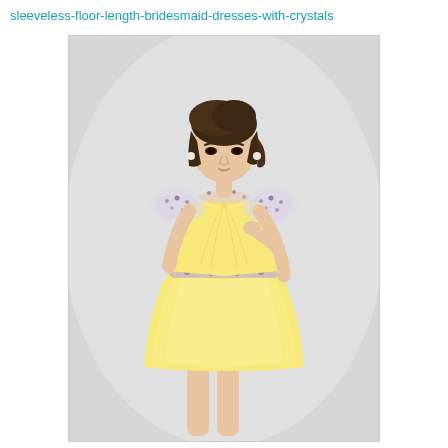sleeveless-floor-length-bridesmaid-dresses-with-crystals
[Figure (photo): A woman wearing a short yellow chiffon bridesmaid dress with a sheer crystal-embellished neckline/cap sleeves and a crystal waistband, posed against a light gray background.]